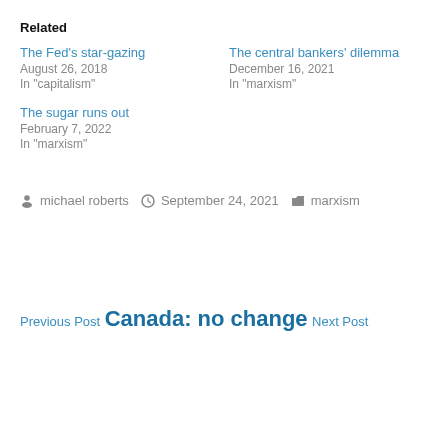Related
The Fed's star-gazing
August 26, 2018
In "capitalism"
The central bankers' dilemma
December 16, 2021
In "marxism"
The sugar runs out
February 7, 2022
In "marxism"
michael roberts   September 24, 2021   marxism
Previous Post
Canada: no change
Next Post